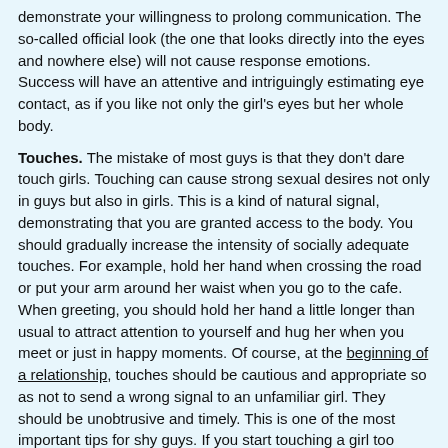demonstrate your willingness to prolong communication. The so-called official look (the one that looks directly into the eyes and nowhere else) will not cause response emotions. Success will have an attentive and intriguingly estimating eye contact, as if you like not only the girl's eyes but her whole body.
Touches. The mistake of most guys is that they don't dare touch girls. Touching can cause strong sexual desires not only in guys but also in girls. This is a kind of natural signal, demonstrating that you are granted access to the body. You should gradually increase the intensity of socially adequate touches. For example, hold her hand when crossing the road or put your arm around her waist when you go to the cafe. When greeting, you should hold her hand a little longer than usual to attract attention to yourself and hug her when you meet or just in happy moments. Of course, at the beginning of a relationship, touches should be cautious and appropriate so as not to send a wrong signal to an unfamiliar girl. They should be unobtrusive and timely. This is one of the most important tips for shy guys. If you start touching a girl too early, she may regard it as an intrusion into her personal space.
Conversation with a girl during flirting. It is believed that the first impression of a person by 35% depends on his or her manner of speaking and 10% – on what he/she says. Different intonations imposed on the same word in flirting acquire diametrically opposite values. If a girl answers you quickly and monotonously,